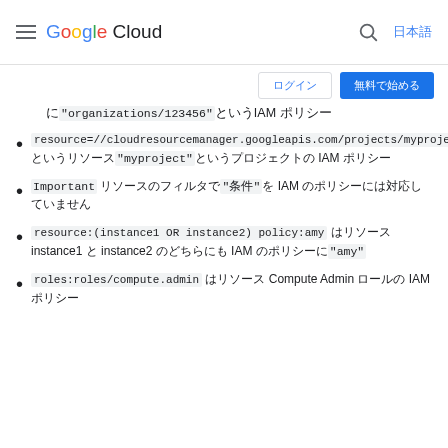Google Cloud
ログイン　無料で始める (buttons)
に"organizations/123456"というIAM ポリシー
resource=//cloudresourcemanager.googleapis.com/projects/myproject というリソース"myproject"というプロジェクトの IAM ポリシー
Important リソースのフィルタで"条件"を IAM のポリシーには対応していません
resource:(instance1 OR instance2) policy:amy はリソース instance1 と instance2 のどちらにも IAM のポリシーに"amy"
roles:roles/compute.admin はリソース Compute Admin ロールの IAM ポリシー